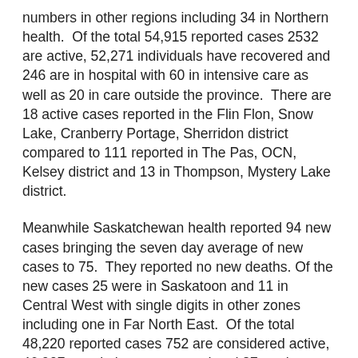numbers in other regions including 34 in Northern health.  Of the total 54,915 reported cases 2532 are active, 52,271 individuals have recovered and 246 are in hospital with 60 in intensive care as well as 20 in care outside the province.  There are 18 active cases reported in the Flin Flon, Snow Lake, Cranberry Portage, Sherridon district compared to 111 reported in The Pas, OCN, Kelsey district and 13 in Thompson, Mystery Lake district.
Meanwhile Saskatchewan health reported 94 new cases bringing the seven day average of new cases to 75.  They reported no new deaths. Of the new cases 25 were in Saskatoon and 11 in Central West with single digits in other zones including one in Far North East.  Of the total 48,220 reported cases 752 are considered active, 46,907 people have recovered and 87 are in hospital with nine in intensive care.  There are 19 active cases reported in the Far North East zone.